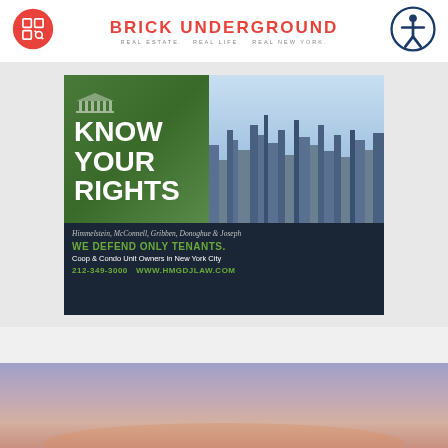BRICK UNDERGROUND — REAL ESTATE. REAL LIFE. REAL NEW YORK.
[Figure (advertisement): Himmelstein, McConnell, Gribben, Donoghue & Joseph law firm advertisement. Left panel: green background with 'KNOW YOUR RIGHTS' text and courthouse icon. Right panel: NYC skyline aerial photo. Bottom: dark background with firm name, 'WE DEFEND ONLY TENANTS. Coop & Condo Unit Owners in New York City', '212-349-3000 WWW.HMGDJLAW.COM']
[Figure (photo): NYC skyline at dusk/dawn, purple and pink sky gradient with city silhouette visible at bottom]